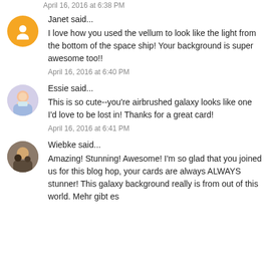April 16, 2016 at 6:38 PM
Janet said...
I love how you used the vellum to look like the light from the bottom of the space ship! Your background is super awesome too!!
April 16, 2016 at 6:40 PM
Essie said...
This is so cute--you're airbrushed galaxy looks like one I'd love to be lost in! Thanks for a great card!
April 16, 2016 at 6:41 PM
Wiebke said...
Amazing! Stunning! Awesome! I'm so glad that you joined us for this blog hop, your cards are always ALWAYS stunner! This galaxy background really is from out of this world. Mehr gibt es